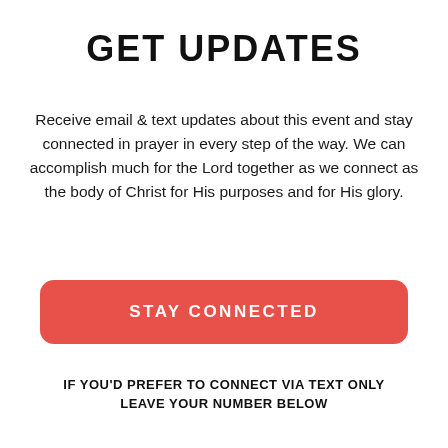GET UPDATES
Receive email & text updates about this event and stay connected in prayer in every step of the way. We can accomplish much for the Lord together as we connect as the body of Christ for His purposes and for His glory.
STAY CONNECTED
IF YOU'D PREFER TO CONNECT VIA TEXT ONLY LEAVE YOUR NUMBER BELOW